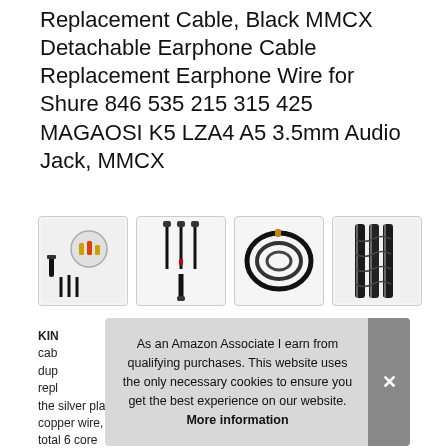Replacement Cable, Black MMCX Detachable Earphone Cable Replacement Earphone Wire for Shure 846 535 215 315 425 MAGAOSI K5 LZA4 A5 3.5mm Audio Jack, MMCX
[Figure (photo): Four product thumbnail images of earphone cables showing connectors, full cable layout, coiled cable, and braided cable close-up]
KINDLY NOTE: This is the upgrade cable for earphone, The cable use silver plated copper wire, total 6 core wires was included in
As an Amazon Associate I earn from qualifying purchases. This website uses the only necessary cookies to ensure you get the best experience on our website. More information